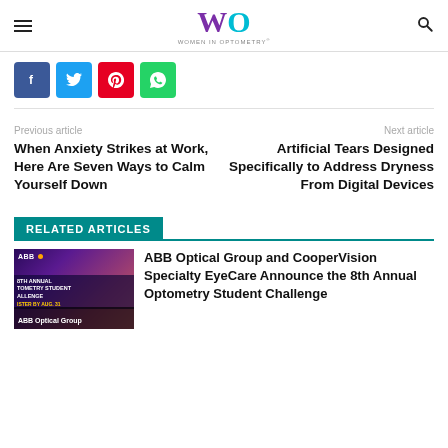Women In Optometry
Facebook, Twitter, Pinterest, WhatsApp share buttons
Previous article: When Anxiety Strikes at Work, Here Are Seven Ways to Calm Yourself Down
Next article: Artificial Tears Designed Specifically to Address Dryness From Digital Devices
RELATED ARTICLES
ABB Optical Group and CooperVision Specialty EyeCare Announce the 8th Annual Optometry Student Challenge
[Figure (photo): ABB Optical Group 8th Annual Optometry Student Challenge promotional image]